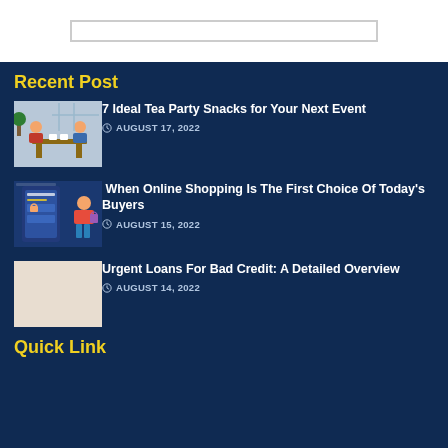[Figure (screenshot): Search bar / input field at top of page]
Recent Post
[Figure (illustration): Illustration of people at a tea party cafe scene]
7 Ideal Tea Party Snacks for Your Next Event
AUGUST 17, 2022
[Figure (illustration): Online shopping illustration with woman and mobile phone/app]
When Online Shopping Is The First Choice Of Today's Buyers
AUGUST 15, 2022
[Figure (photo): Thumbnail image for urgent loans article (light/blank)]
Urgent Loans For Bad Credit: A Detailed Overview
AUGUST 14, 2022
Quick Link